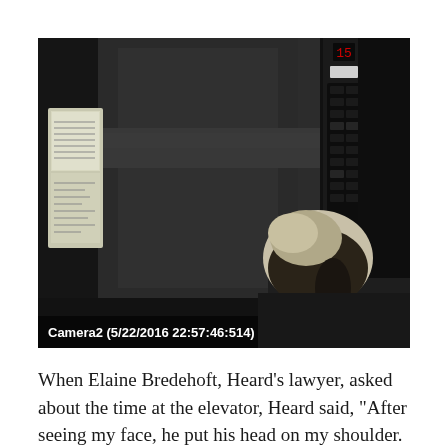[Figure (photo): Surveillance camera footage from Camera2, dated 5/22/2016 at 22:57:46:514. The image shows the interior of an elevator with dark metallic walls. A person with dark hair is visible in the lower right corner, facing away from the camera. There is a framed notice/sign on the left wall and elevator control panel on the right side.]
When Elaine Bredehoft, Heard's lawyer, asked about the time at the elevator, Heard said, "After seeing my face, he put his head on my shoulder. He